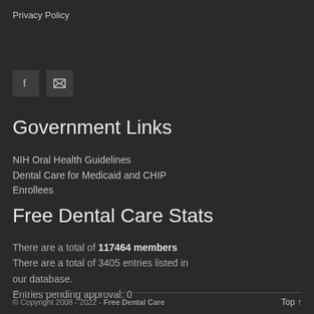Privacy Policy
[Figure (other): Social share icons: Facebook (f) and Email (envelope with X)]
Government Links
NIH Oral Health Guidelines
Dental Care for Medicaid and CHIP Enrollees
Free Dental Care Stats
There are a total of 117464 members
There are a total of 3405 entries listed in our database.
Entries pending approval: 0
© Copyright 2008 - 2022 - Free Dental Care    Top ↑